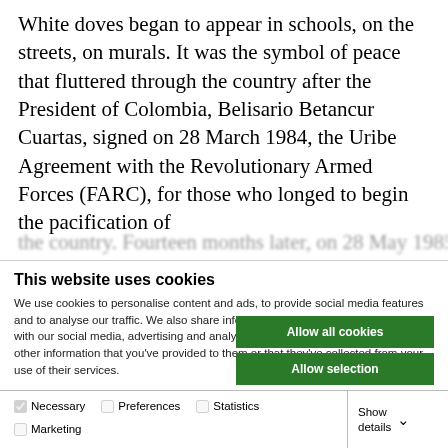White doves began to appear in schools, on the streets, on murals. It was the symbol of peace that fluttered through the country after the President of Colombia, Belisario Betancur Cuartas, signed on 28 March 1984, the Uribe Agreement with the Revolutionary Armed Forces (FARC), for those who longed to begin the pacification of the country. Fourteen months later, on 28 May 1985, the
This website uses cookies
We use cookies to personalise content and ads, to provide social media features and to analyse our traffic. We also share information about your use of our site with our social media, advertising and analytics partners who may combine it with other information that you've provided to them or that they've collected from your use of their services.
Allow all cookies
Allow selection
Use necessary cookies only
Necessary  Preferences  Statistics  Marketing  Show details